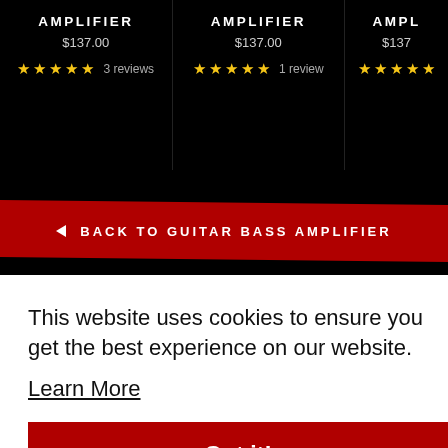AMPLIFIER $137.00 ★★★★★ 3 reviews
AMPLIFIER $137.00 ★★★★★ 1 review
AMPLIFIER $137...
← BACK TO GUITAR BASS AMPLIFIER
This website uses cookies to ensure you get the best experience on our website.
Learn More
Got it!